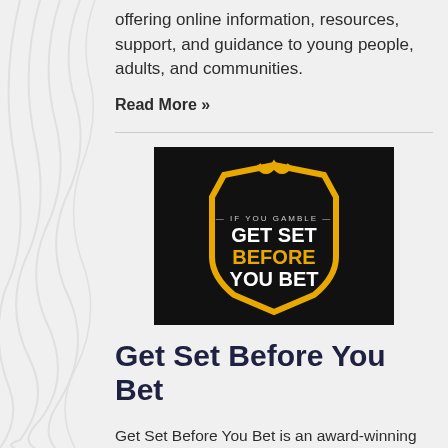offering online information, resources, support, and guidance to young people, adults, and communities.
Read More »
[Figure (logo): Black background image with an Ohio state outline in gold/yellow. Text reads: IF YOU GAMBLE — GET SET BEFORE YOU BET in white and gold text.]
Get Set Before You Bet
Get Set Before You Bet is an award-winning campaign to raise awareness about the signs and dangers of problem gambling as well as to share